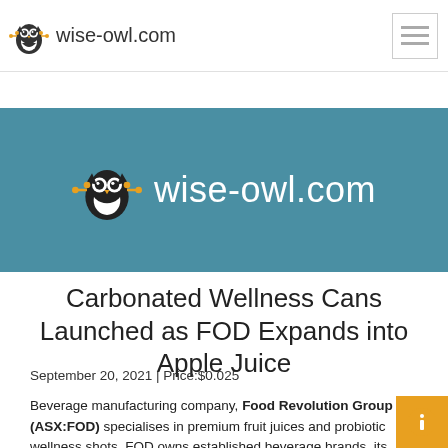wise-owl.com
[Figure (logo): Wise-owl.com logo with owl icon on teal banner background]
Carbonated Wellness Cans Launched as FOD Expands into Apple Juice
September 20, 2021 | Price:$0.025
Beverage manufacturing company, Food Revolution Group (ASX:FOD) specialises in premium fruit juices and probiotic wellness shots. FOD owns established beverage brands, its products are now available in